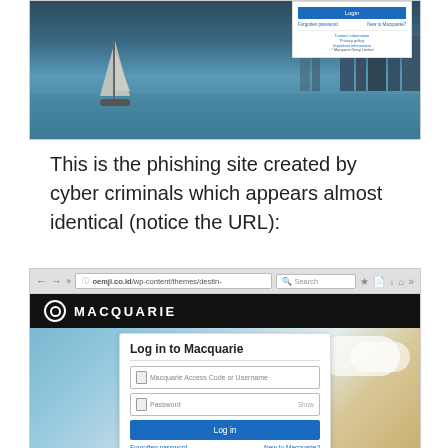[Figure (screenshot): Screenshot of the legitimate Macquarie login page showing a harbor/skyline background with a login form on the right, positioned at the top of the page]
This is the phishing site created by cyber criminals which appears almost identical (notice the URL):
[Figure (screenshot): Screenshot of phishing site at oemji.co.id replicating the Macquarie login page, showing browser URL bar with oemji.co.id/wp-content/themes/destin-, a Macquarie header with logo, and a login form with fields for Macquarie Access Code or Username, Password, a Log in button, and links for Forgotten password and New to Macquarie?]